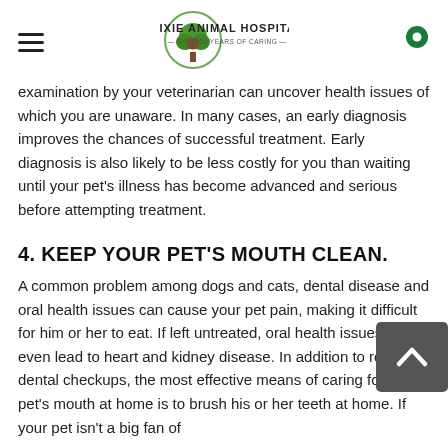Dixie Animal Hospital — Over 50 Years of Caring
examination by your veterinarian can uncover health issues of which you are unaware. In many cases, an early diagnosis improves the chances of successful treatment. Early diagnosis is also likely to be less costly for you than waiting until your pet's illness has become advanced and serious before attempting treatment.
4. KEEP YOUR PET'S MOUTH CLEAN.
A common problem among dogs and cats, dental disease and oral health issues can cause your pet pain, making it difficult for him or her to eat. If left untreated, oral health issues may even lead to heart and kidney disease. In addition to regular dental checkups, the most effective means of caring for your pet's mouth at home is to brush his or her teeth at home. If your pet isn't a big fan of